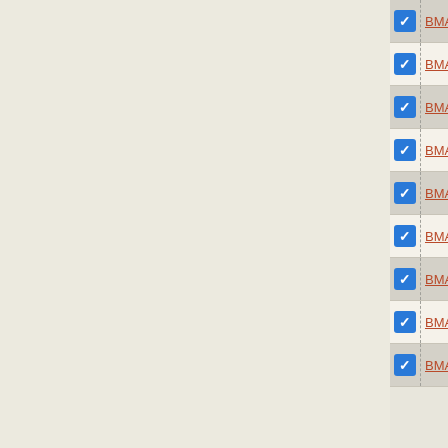|  | Gene | Type | Accession | Start | End(clipped) |
| --- | --- | --- | --- | --- | --- |
| ☑ | BMA0079 | CDS | NC_006348 | 86216 | 87… |
| ☑ | BMA0080 |  | NC_006348 | 87532 | 87… |
| ☑ | BMA0081 |  | NC_006348 | 88163 | 92… |
| ☑ | BMA0082 | CDS | NC_006348 | 92272 | 93… |
| ☑ | BMA0083 | CDS | NC_006348 | 93841 | 94… |
| ☑ | BMA0084 | CDS | NC_006348 | 94367 | 96… |
| ☑ | BMA0085 | CDS | NC_006348 | 96230 | 97… |
| ☑ | BMA0086 | CDS | NC_006348 | 97130 | 97… |
| ☑ | BMA0087 | CDS | NC_006348 | 97785 | 985… |